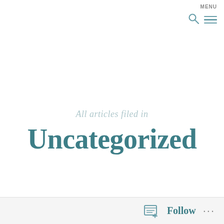MENU
All articles filed in
Uncategorized
Follow ...